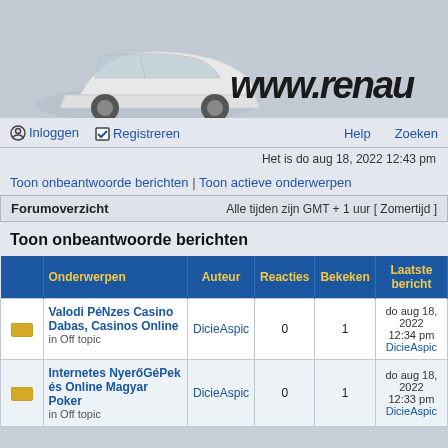[Figure (illustration): Website banner showing a white Renault car and text 'www.renau...' in bold italic style on a grey background]
⊙ Inloggen  ☑ Registreren          Help    Zoeken
Het is do aug 18, 2022 12:43 pm
Toon onbeantwoorde berichten | Toon actieve onderwerpen
Forumoverzicht    Alle tijden zijn GMT + 1 uur [ Zomertijd ]
Toon onbeantwoorde berichten
|  | Onderwerpen | Auteur | Reacties | Bekeken | Laatste bericht |
| --- | --- | --- | --- | --- | --- |
|  | Valodi PéNzes Casino Dabas, Casinos Online
in Off topic | DicieAspic | 0 | 1 | do aug 18, 2022
12:34 pm
DicieAspic |
|  | Internetes NyerőGéPek és Online Magyar Poker
in Off topic | DicieAspic | 0 | 1 | do aug 18, 2022
12:33 pm
DicieAspic |